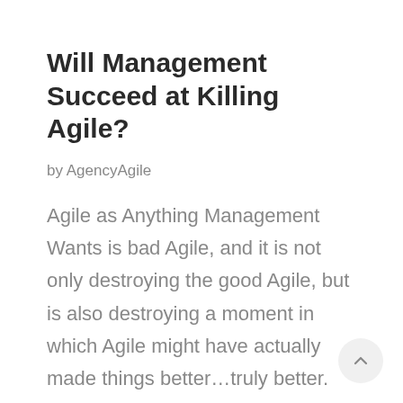Will Management Succeed at Killing Agile?
by AgencyAgile
Agile as Anything Management Wants is bad Agile, and it is not only destroying the good Agile, but is also destroying a moment in which Agile might have actually made things better…truly better. There are actually many